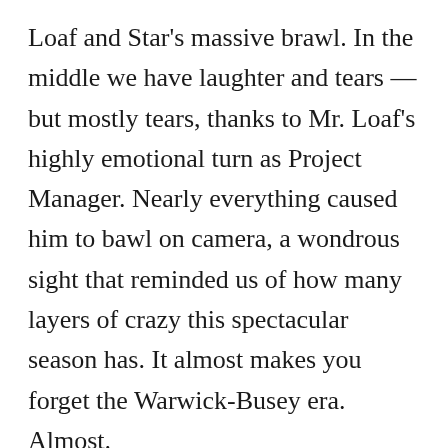Loaf and Star's massive brawl. In the middle we have laughter and tears — but mostly tears, thanks to Mr. Loaf's highly emotional turn as Project Manager. Nearly everything caused him to bawl on camera, a wondrous sight that reminded us of how many layers of crazy this spectacular season has. It almost makes you forget the Warwick-Busey era. Almost.
There were really two shockers on this past episode: first was that Nene quit the